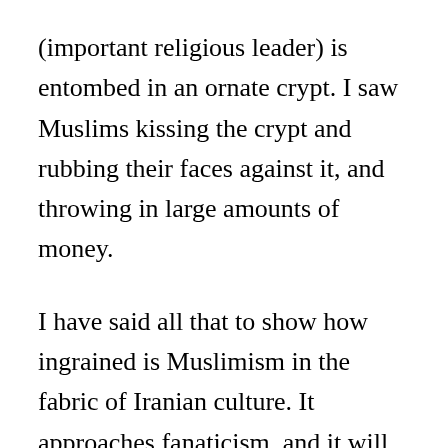(important religious leader) is entombed in an ornate crypt. I saw Muslims kissing the crypt and rubbing their faces against it, and throwing in large amounts of money.
I have said all that to show how ingrained is Muslimism in the fabric of Iranian culture. It approaches fanaticism, and it will not be dislodged without great effort and tremendous sacrifice on the part of all who attempt it.